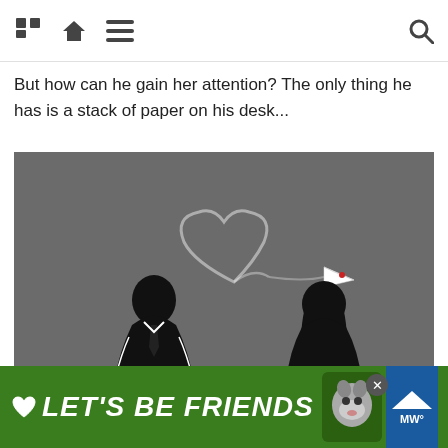Home menu search
But how can he gain her attention? The only thing he has is a stack of paper on his desk...
[Figure (illustration): Illustration of two silhouettes — a man in a suit and tie on the left, a woman with long hair on the right — against a dark grey background. A paper airplane flies from the man toward the woman, leaving a heart-shaped trail of smoke.]
It's corny and hopelessly romantic, but it captures all of the inno... es, it take... e is sense...
[Figure (other): Advertisement banner with green background reading LET'S BE FRIENDS with a heart icon and a husky dog image, with a close button and a blue panel on the right.]